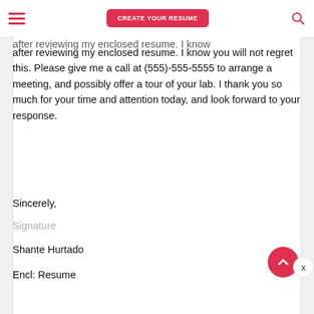CREATE YOUR RESUME
after reviewing my enclosed resume. I know you will not regret this. Please give me a call at (555)-555-5555 to arrange a meeting, and possibly offer a tour of your lab. I thank you so much for your time and attention today, and look forward to your response.
Sincerely,
Signature
Shante Hurtado
Encl: Resume